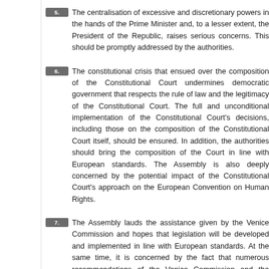5.  The centralisation of excessive and discretionary powers in the hands of the Prime Minister and, to a lesser extent, the President of the Republic, raises serious concerns. This should be promptly addressed by the authorities.
6.  The constitutional crisis that ensued over the composition of the Constitutional Court undermines democratic government that respects the rule of law and the legitimacy of the Constitutional Court. The full and unconditional implementation of the Constitutional Court's decisions, including those on the composition of the Constitutional Court itself, should be ensured. In addition, the authorities should bring the composition of the Court in line with European standards. The Assembly is also deeply concerned by the potential impact of the Constitutional Court's approach on the European Convention on Human Rights.
7.  The Assembly lauds the assistance given by the Venice Commission and hopes that legislation will be developed and implemented in line with European standards. At the same time, it is concerned by the fact that numerous recommendations of the Venice Commission and the Assembly itself have not been adequately addressed by the authorities. The Assembly is concerned that the judicial reform, while positive for the independence of the judiciary, could have been more ambitious. The Assembly therefore calls on the authorities to revisit the total reform package for the judiciary and implement all outstanding Venice Commission recommendations. In particular with regard to:
7.1.  the reform of the Public Prosecutors